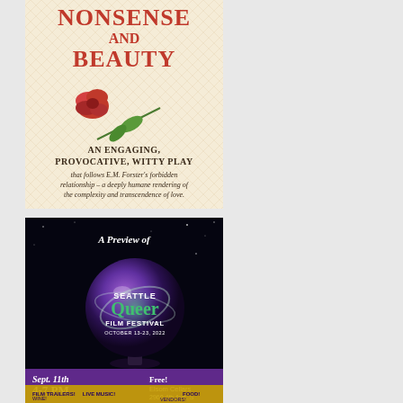[Figure (illustration): Theater poster for 'Nonsense and Beauty' — cream/beige textured background, red rose illustration, text: 'AN ENGAGING, PROVOCATIVE, WITTY PLAY that follows E.M. Forster's forbidden relationship — a deeply humane rendering of the complexity and transcendence of love.']
[Figure (illustration): Event poster for a preview of the Seattle Queer Film Festival (October 13-23, 2022) — black background with purple crystal ball, white and green handwritten/stylized text. Details: Sept. 11th, 4-7 PM, Free! Elsom Cellars, 2960 4th Ave. S. Film Trailers! Wine! Live Music! Food! Vendors!]